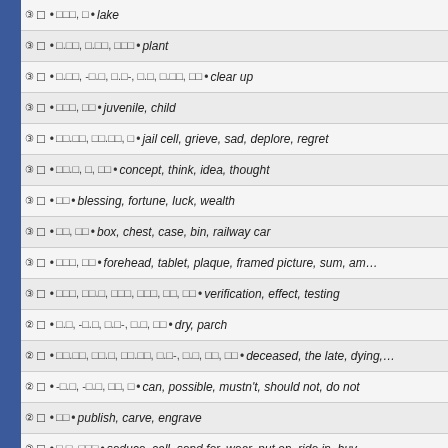③ □ • □□□, □ • lake
③ □ • □.□□, □.□□, □□□ • plant
③ □ • □.□□, -□.□, □.□-, □.□, □.□□, □□ • clear up
③ □ • □□□, □□ • juvenile, child
③ □ • □□.□□, □□.□□, □ • jail cell, grieve, sad, deplore, regret
③ □ • □□.□, □, □□ • concept, think, idea, thought
③ □ • □□ • blessing, fortune, luck, wealth
③ □ • □□, □□ • box, chest, case, bin, railway car
③ □ • □□□, □□ • forehead, tablet, plaque, framed picture, sum, am…
③ □ • □□□, □□.□, □□□, □□□, □□, □□ • verification, effect, testing
② □ • □.□, -□.□, □.□-, □.□, □□ • dry, parch
② □ • □□.□□, □□.□, □□.□□, □.□-, □.□, □□, □□ • deceased, the late, dying,…
② □ • -□.□, -□.□, □□, □ • can, possible, mustn't, should not, do not
② □ • □□ • publish, carve, engrave
② □ • □.□, □□□ • seduce, call, send for, wear, put on, ride in, buy,…
② □ • -□□, -□.□, -□□, □.□; -□.□, □□.□-, -□□, □.□-, □.□-, □□-, □□-, □.□-, -□□, □.□-, -□.□,…